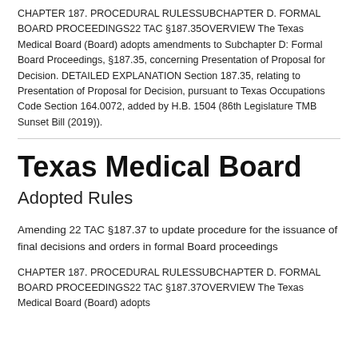CHAPTER 187. PROCEDURAL RULESSUBCHAPTER D. FORMAL BOARD PROCEEDINGS22 TAC §187.35OVERVIEW The Texas Medical Board (Board) adopts amendments to Subchapter D: Formal Board Proceedings, §187.35, concerning Presentation of Proposal for Decision. DETAILED EXPLANATION Section 187.35, relating to Presentation of Proposal for Decision, pursuant to Texas Occupations Code Section 164.0072, added by H.B. 1504 (86th Legislature TMB Sunset Bill (2019)).
Texas Medical Board
Adopted Rules
Amending 22 TAC §187.37 to update procedure for the issuance of final decisions and orders in formal Board proceedings
CHAPTER 187. PROCEDURAL RULESSUBCHAPTER D. FORMAL BOARD PROCEEDINGS22 TAC §187.37OVERVIEW The Texas Medical Board (Board) adopts